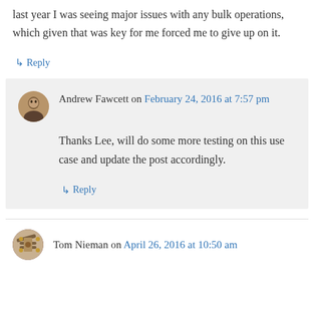last year I was seeing major issues with any bulk operations, which given that was key for me forced me to give up on it.
↳ Reply
Andrew Fawcett on February 24, 2016 at 7:57 pm
Thanks Lee, will do some more testing on this use case and update the post accordingly.
↳ Reply
Tom Nieman on April 26, 2016 at 10:50 am